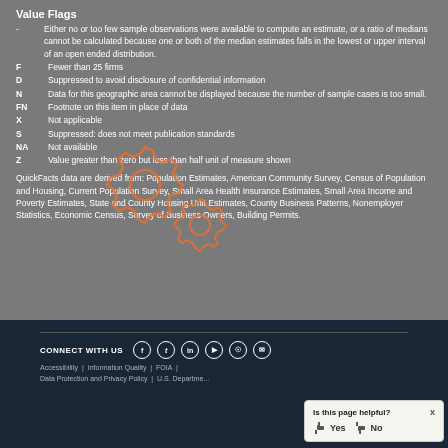Value Flags
- Either no or too few sample observations were available to compute an estimate, or a ratio of medians cannot be calculated because one or both of the median estimates falls in the lowest or upper interval of an open ended distribution.
F Fewer than 25 firms
D Suppressed to avoid disclosure of confidential information
N Data for this geographic area cannot be displayed because the number of sample cases is too small.
FN Footnote on this item in place of data
X Not applicable
S Suppressed: does not meet publication standards
NA Not available
Z Value greater than zero but less than half unit of measure shown
QuickFacts data are derived from: Population Estimates, American Community Survey, Census of Population and Housing, Current Population Survey, Small Area Health Insurance Estimates, Small Area Income and Poverty Estimates, State and County Housing Unit Estimates, County Business Patterns, Nonemployer Statistics, Economic Census, Survey of Business Owners, Building Permits.
[Figure (illustration): Two overlapping orange gear/cog icons overlaid on main content area]
CONNECT WITH US | Accessibility | Information Quality | FOIA | Data Protection and Privacy Policy | U.S. Department...
Is this page helpful? Yes No